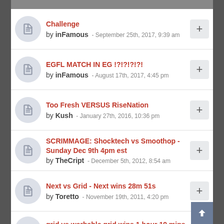Challenge by inFamous - September 25th, 2017, 9:39 am
EGFL MATCH IN EG !?!?!?!?! by inFamous - August 17th, 2017, 4:45 pm
Too Fresh VERSUS RiseNation by Kush - January 27th, 2016, 10:36 pm
SCRIMMAGE: Shocktech vs Smoothop - Sunday Dec 9th 4pm est by TheCript - December 5th, 2012, 8:54 am
Next vs Grid - Next wins 28m 51s by Toretto - November 19th, 2011, 4:20 pm
grid vs warhable grid wins 1 hour 19 mins by EFL - ...